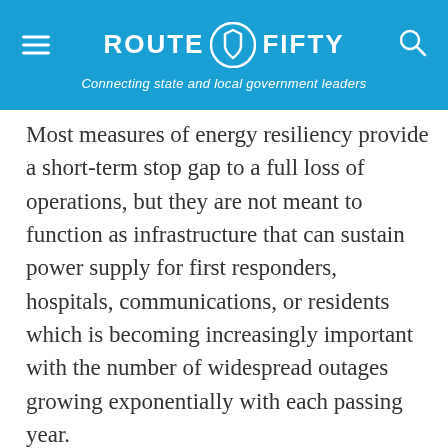ROUTE FIFTY — Connecting state and local government leaders
Most measures of energy resiliency provide a short-term stop gap to a full loss of operations, but they are not meant to function as infrastructure that can sustain power supply for first responders, hospitals, communications, or residents which is becoming increasingly important with the number of widespread outages growing exponentially with each passing year.
When an event wipes out power for several days, or even weeks, the challenge to keep a